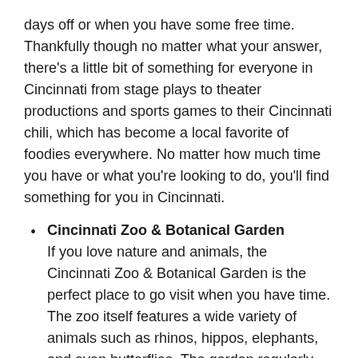days off or when you have some free time. Thankfully though no matter what your answer, there's a little bit of something for everyone in Cincinnati from stage plays to theater productions and sports games to their Cincinnati chili, which has become a local favorite of foodies everywhere. No matter how much time you have or what you're looking to do, you'll find something for you in Cincinnati.
Cincinnati Zoo & Botanical Garden — If you love nature and animals, the Cincinnati Zoo & Botanical Garden is the perfect place to go visit when you have time. The zoo itself features a wide variety of animals such as rhinos, hippos, elephants, and even butterflies. The garden regularly holds events and has educational programs for children as well as adults and there's always something new to see every time you visit.
Spring Grove Cemetery and Arboretum